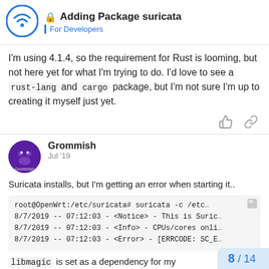Adding Package suricata — For Developers
I'm using 4.1.4, so the requirement for Rust is looming, but not here yet for what I'm trying to do. I'd love to see a rust-lang and cargo package, but I'm not sure I'm up to creating it myself just yet.
Grommish  Jul '19
Suricata installs, but I'm getting an error when starting it..
root@OpenWrt:/etc/suricata# suricata -c /etc/s
8/7/2019 -- 07:12:03 - <Notice> - This is Suric
8/7/2019 -- 07:12:03 - <Info> - CPUs/cores onli
8/7/2019 -- 07:12:03 - <Error> - [ERRCODE: SC_E
libmagic is set as a dependency for my